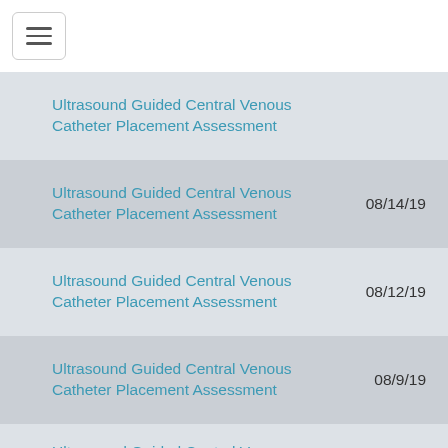[Figure (screenshot): Navigation hamburger menu button in top-left corner]
Ultrasound Guided Central Venous Catheter Placement Assessment
Ultrasound Guided Central Venous Catheter Placement Assessment  08/14/19
Ultrasound Guided Central Venous Catheter Placement Assessment  08/12/19
Ultrasound Guided Central Venous Catheter Placement Assessment  08/9/19
Ultrasound Guided Central Venous Catheter Placement Assessment  08/8/19